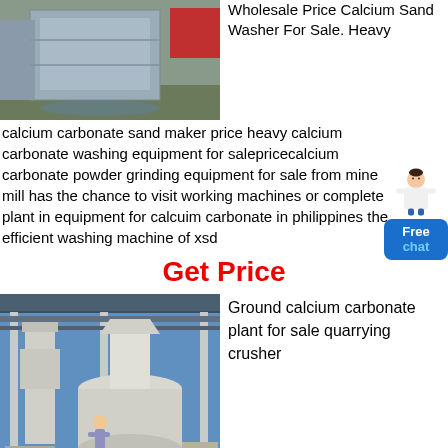[Figure (photo): Industrial gray metal sand washer or calcium carbonate washing machine equipment outdoors]
Wholesale Price Calcium Sand Washer For Sale. Heavy
calcium carbonate sand maker price heavy calcium carbonate washing equipment for salepricecalcium carbonate powder grinding equipment for sale from mine mill has the chance to visit working machines or complete plant in equipment for calcuim carbonate in philippines the efficient washing machine of xsd
Get Price
[Figure (photo): Ground calcium carbonate plant with large white grinding mill and worker standing in front, under a metal roof structure]
Ground calcium carbonate plant for sale quarrying crusher